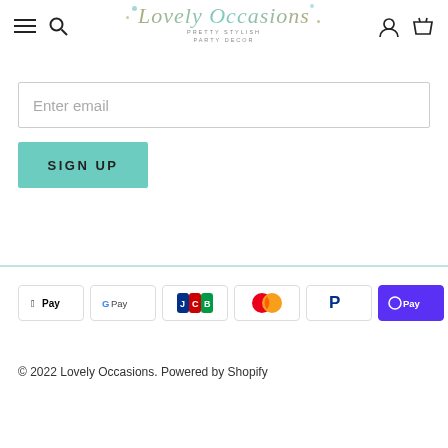[Figure (logo): Lovely Occasions logo with decorative script text and subtitle 'PRETTY STYLISH PARTY DECOR']
Enter email
SIGN UP
[Figure (infographic): Payment method icons: Apple Pay, Google Pay, JCB, Mastercard, PayPal, Shop Pay, Visa]
© 2022 Lovely Occasions. Powered by Shopify